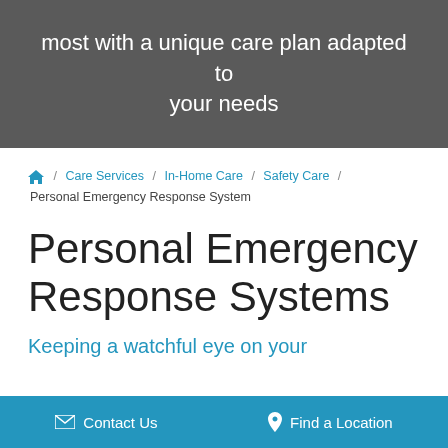most with a unique care plan adapted to your needs
/ Care Services / In-Home Care / Safety Care / Personal Emergency Response System
Personal Emergency Response Systems
Keeping a watchful eye on your
Contact Us   Find a Location